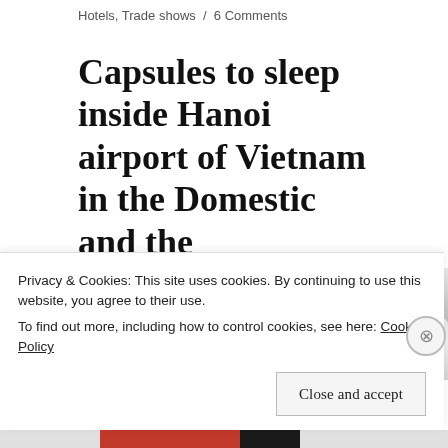Hotels, Trade shows / 6 Comments
Capsules to sleep inside Hanoi airport of Vietnam in the Domestic and the International Terminal
[Figure (photo): Photo of white pillows/capsule sleeping pod interior, partially visible]
Privacy & Cookies: This site uses cookies. By continuing to use this website, you agree to their use.
To find out more, including how to control cookies, see here: Cookie Policy
Close and accept